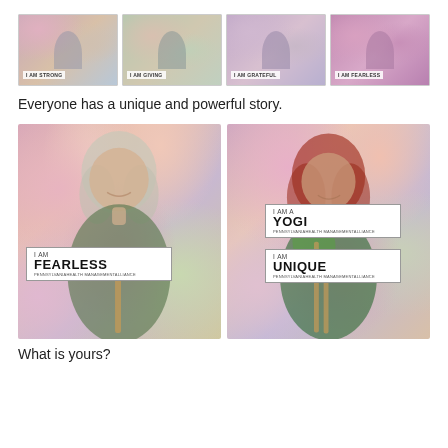[Figure (photo): Four portrait photos of women holding signs in front of a floral background. Signs read: I AM STRONG, I AM GIVING, I AM GRATEFUL, I AM FEARLESS (small signs at bottom of each photo).]
Everyone has a unique and powerful story.
[Figure (photo): Two larger portrait photos side by side. Left: woman with gray hair smiling, holding a sign reading 'I AM FEARLESS' with subtitle text. Right: woman with red hair smiling, holding two signs reading 'I AM A YOGI' and 'I AM UNIQUE' with subtitle text. Both standing in front of a pink floral background.]
What is yours?